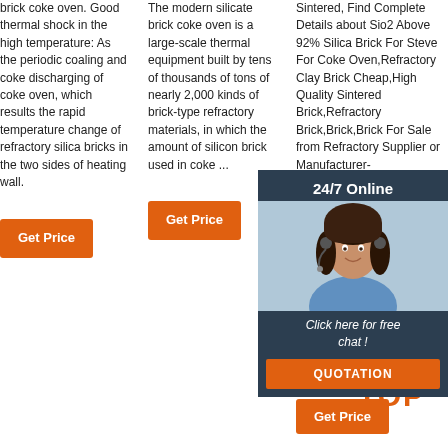brick coke oven. Good thermal shock in the high temperature: As the periodic coaling and coke discharging of coke oven, which results the rapid temperature change of refractory silica bricks in the two sides of heating wall.
The modern silicate brick coke oven is a large-scale thermal equipment built by tens of thousands of tons of nearly 2,000 kinds of brick-type refractory materials, in which the amount of silicon brick used in coke ...
Sintered, Find Complete Details about Sio2 Above 92% Silica Brick For Steve For Coke Oven,Refractory Clay Brick Cheap,High Quality Sintered Brick,Refractory Brick,Brick,Brick For Sale from Refractory Supplier or Manufacturer-ZHENGZHOU RONGSHENG
[Figure (photo): 24/7 Online chat overlay with a woman wearing a headset, a 'Click here for free chat!' message, and a QUOTATION button]
Get Price (column 1)
Get Price (column 2)
Get Price (column 3 bottom)